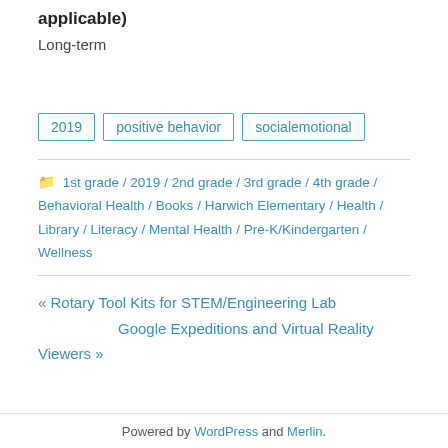applicable)
Long-term
2019
positive behavior
socialemotional
1st grade / 2019 / 2nd grade / 3rd grade / 4th grade / Behavioral Health / Books / Harwich Elementary / Health / Library / Literacy / Mental Health / Pre-K/Kindergarten / Wellness
« Rotary Tool Kits for STEM/Engineering Lab
Google Expeditions and Virtual Reality Viewers »
Powered by WordPress and Merlin.